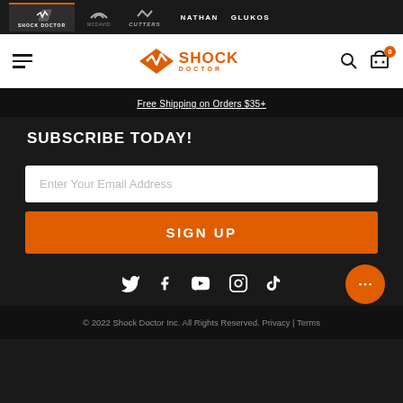[Figure (screenshot): Brand navigation bar showing Shock Doctor (active), McDavid, Cutters logos, and NATHAN, GLUKOS brand names]
[Figure (logo): Shock Doctor main site header with hamburger menu, Shock Doctor logo, search icon, and cart icon with 0 badge]
Free Shipping on Orders $35+
SUBSCRIBE TODAY!
Enter Your Email Address
SIGN UP
[Figure (other): Social media icons row: Twitter, Facebook, YouTube, Instagram, TikTok, with orange chat bubble button on right]
© 2022 Shock Doctor Inc. All Rights Reserved. Privacy | Terms